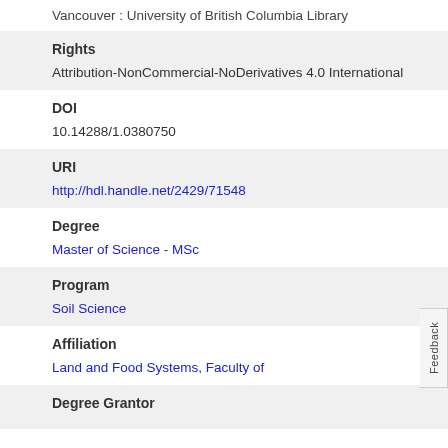Vancouver : University of British Columbia Library
Rights
Attribution-NonCommercial-NoDerivatives 4.0 International
DOI
10.14288/1.0380750
URI
http://hdl.handle.net/2429/71548
Degree
Master of Science - MSc
Program
Soil Science
Affiliation
Land and Food Systems, Faculty of
Degree Grantor